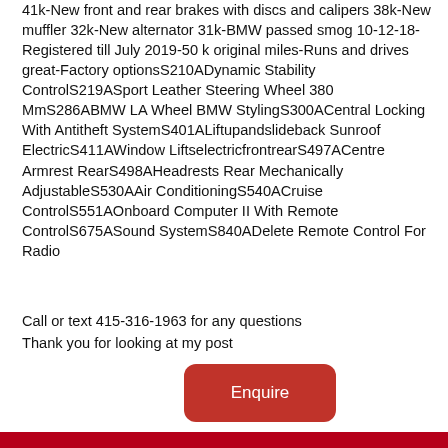41k-New front and rear brakes with discs and calipers 38k-New muffler 32k-New alternator 31k-BMW passed smog 10-12-18-Registered till July 2019-50 k original miles-Runs and drives great-Factory optionsS210ADynamic Stability ControlS219ASport Leather Steering Wheel 380 MmS286ABMW LA Wheel BMW StylingS300ACentral Locking With Antitheft SystemS401ALiftupandslideback Sunroof ElectricS411AWindow LiftselectricfrontrearS497ACentre Armrest RearS498AHeadrests Rear Mechanically AdjustableS530AAir ConditioningS540ACruise ControlS551AOnboard Computer II With Remote ControlS675ASound SystemS840ADelete Remote Control For Radio
Call or text 415-316-1963 for any questions
Thank you for looking at my post
Enquire
More BMW classic cars for sale
1986 BMW 325e sedan auto cheap E30 project car NJ NR 325i 325is 325es one